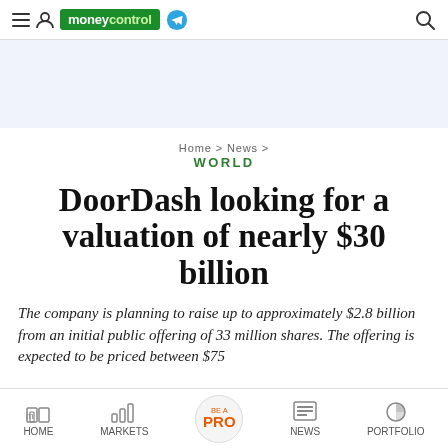moneycontrol
Home > News > WORLD
DoorDash looking for a valuation of nearly $30 billion
The company is planning to raise up to approximately $2.8 billion from an initial public offering of 33 million shares. The offering is expected to be priced between $75...
HOME | MARKETS | BE A PRO | NEWS | PORTFOLIO